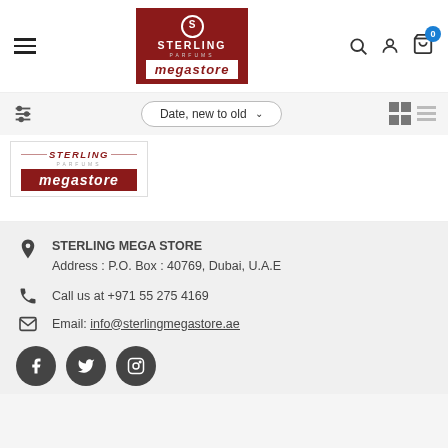[Figure (logo): Sterling Parfums Megastore logo in dark red with white text and megastore in white box]
Date, new to old
[Figure (logo): Sterling Parfums Megastore product card logo - red and white]
STERLING MEGA STORE
Address : P.O. Box : 40769, Dubai, U.A.E
Call us at +971 55 275 4169
Email: info@sterlingmegastore.ae